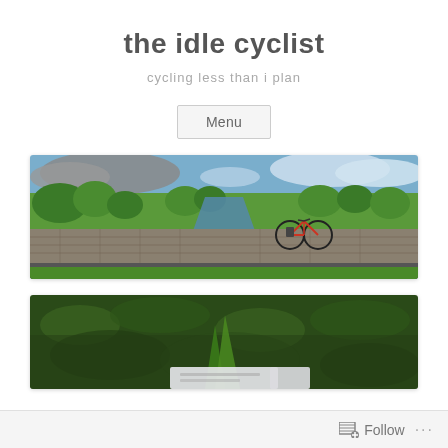the idle cyclist
cycling less than i plan
Menu
[Figure (photo): Panoramic photo of a rural countryside scene: a stone wall in the foreground, a bicycle leaning against it, a canal or river behind, green fields and trees, cloudy blue sky.]
[Figure (photo): Partial photo showing dense green grass with what appears to be a white book or sign partially visible at the bottom.]
Follow ...